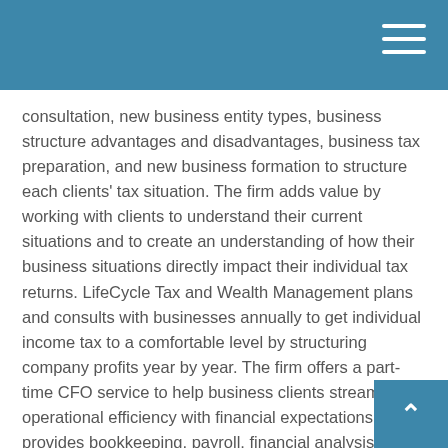consultation, new business entity types, business structure advantages and disadvantages, business tax preparation, and new business formation to structure each clients' tax situation. The firm adds value by working with clients to understand their current situations and to create an understanding of how their business situations directly impact their individual tax returns. LifeCycle Tax and Wealth Management plans and consults with businesses annually to get individual income tax to a comfortable level by structuring company profits year by year. The firm offers a part-time CFO service to help business clients streamline operational efficiency with financial expectations and provides bookkeeping, payroll, financial analysis, and other services as necessary.
Value 3: Tax Planning